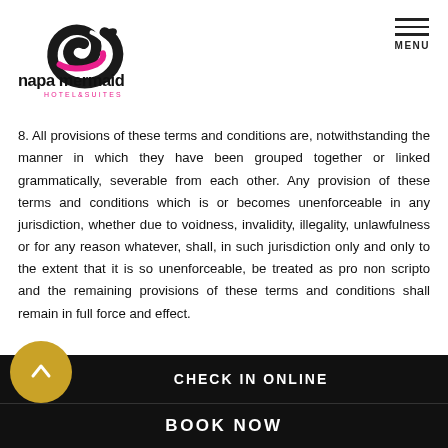[Figure (logo): Napa Mermaid Hotel & Suites logo with stylized mermaid/spiral icon in black and pink, text 'napa mermaid' in large lowercase letters and 'HOTEL&SUITES' in smaller pink letters]
8. All provisions of these terms and conditions are, notwithstanding the manner in which they have been grouped together or linked grammatically, severable from each other. Any provision of these terms and conditions which is or becomes unenforceable in any jurisdiction, whether due to voidness, invalidity, illegality, unlawfulness or for any reason whatever, shall, in such jurisdiction only and only to the extent that it is so unenforceable, be treated as pro non scripto and the remaining provisions of these terms and conditions shall remain in full force and effect.
9. Delay or failure to comply with or breach of any of these
CHECK IN ONLINE   BOOK NOW